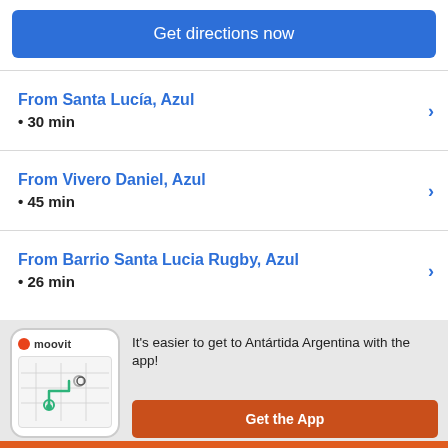Get directions now
From Santa Lucía, Azul • 30 min
From Vivero Daniel, Azul • 45 min
From Barrio Santa Lucia Rugby, Azul • 26 min
[Figure (screenshot): Moovit app phone mockup with map route illustration]
It's easier to get to Antártida Argentina with the app!
Get the App